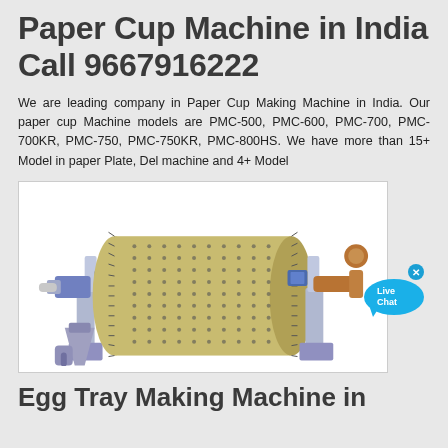Paper Cup Machine in India Call 9667916222
We are leading company in Paper Cup Making Machine in India. Our paper cup Machine models are PMC-500, PMC-600, PMC-700, PMC-700KR, PMC-750, PMC-750KR, PMC-800HS. We have more than 15+ Model in paper Plate, Del machine and 4+ Model
[Figure (illustration): Industrial paper cup machine: a large cylindrical drum with dot-patterned surface, supported by blue mechanical supports on both ends, with metal pipes and connectors — illustrated engineering diagram on white background.]
Egg Tray Making Machine in